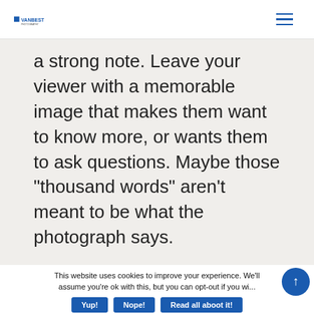[Logo] [Hamburger menu]
a strong note. Leave your viewer with a memorable image that makes them want to know more, or wants them to ask questions. Maybe those “thousand words” aren’t meant to be what the photograph says.
This website uses cookies to improve your experience. We'll assume you're ok with this, but you can opt-out if you wi...
Yup!
Nope!
Read all aboot it!